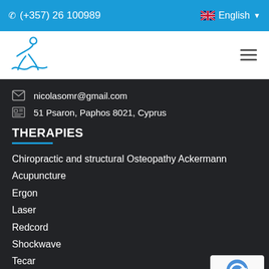(+357) 26 100989  English
[Figure (logo): Blue athletic figure logo for a physiotherapy/osteopathy clinic]
nicolasomr@gmail.com
51 Psaron, Paphos 8021, Cyprus
THERAPIES
Chiropractic and structural Osteopathy Ackermann
Acupuncture
Ergon
Laser
Redcord
Shockwave
Tecar
Pressotherapy